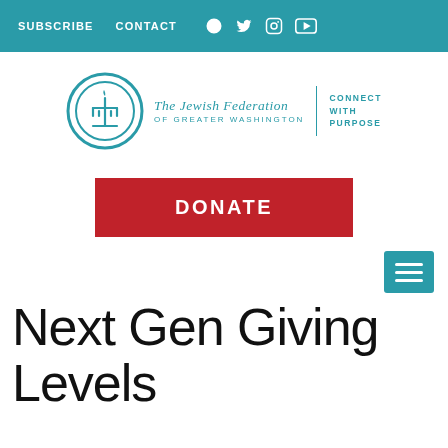SUBSCRIBE   CONTACT
[Figure (logo): The Jewish Federation of Greater Washington logo with circular menorah emblem and tagline CONNECT WITH PURPOSE]
[Figure (other): Red DONATE button]
[Figure (other): Teal hamburger menu button]
Next Gen Giving Levels